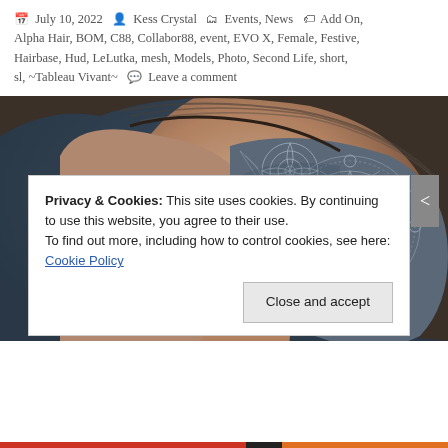July 10, 2022  Kess Crystal  Events, News  Add On, Alpha Hair, BOM, C88, Collabor88, event, EVO X, Female, Festive, Hairbase, Hud, LeLutka, mesh, Models, Photo, Second Life, short, sl, ~Tableau Vivant~  Leave a comment
[Figure (photo): Close-up back view of a 3D rendered avatar head with a short undercut hairstyle featuring an intricate mandala/lace tattoo pattern on the shaved sides, shown against a dark blue background.]
Privacy & Cookies: This site uses cookies. By continuing to use this website, you agree to their use.
To find out more, including how to control cookies, see here: Cookie Policy
Close and accept